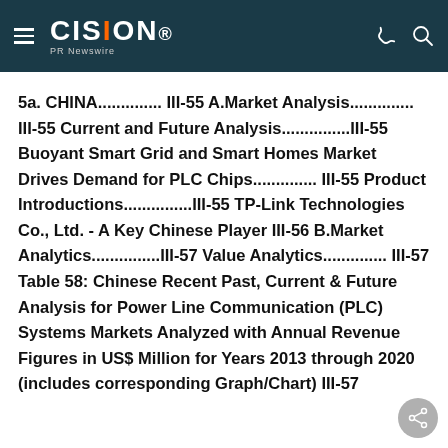CISION PR Newswire
5a. CHINA.............. III-55 A.Market Analysis.............. III-55 Current and Future Analysis...............III-55 Buoyant Smart Grid and Smart Homes Market Drives Demand for PLC Chips.............. III-55 Product Introductions...............III-55 TP-Link Technologies Co., Ltd. - A Key Chinese Player III-56 B.Market Analytics...............III-57 Value Analytics.............. III-57 Table 58: Chinese Recent Past, Current & Future Analysis for Power Line Communication (PLC) Systems Markets Analyzed with Annual Revenue Figures in US$ Million for Years 2013 through 2020 (includes corresponding Graph/Chart) III-57